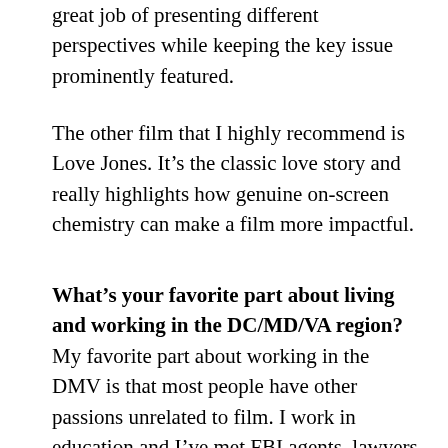great job of presenting different perspectives while keeping the key issue prominently featured.
The other film that I highly recommend is Love Jones. It's the classic love story and really highlights how genuine on-screen chemistry can make a film more impactful.
What's your favorite part about living and working in the DC/MD/VA region? My favorite part about working in the DMV is that most people have other passions unrelated to film. I work in education and I've met FBI agents, lawyers